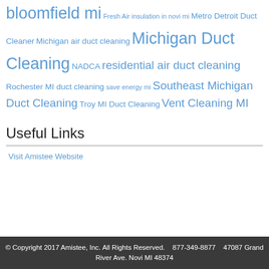bloomfield mi Fresh Air insulation in novi mi Metro Detroit Duct Cleaner Michigan air duct cleaning Michigan Duct Cleaning NADCA residential air duct cleaning Rochester MI duct cleaning save energy mi Southeast Michigan Duct Cleaning Troy MI Duct Cleaning Vent Cleaning MI
Useful Links
Visit Amistee Website
© Copyright 2017 Amistee, Inc. All Rights Reserved.    877-349-8877    47087 Grand River Ave. Novi MI 48374